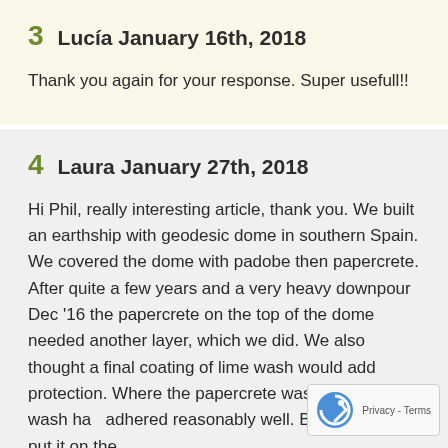3  Lucía January 16th, 2018

Thank you again for your response. Super usefull!!
4  Laura January 27th, 2018

Hi Phil, really interesting article, thank you. We built an earthship with geodesic dome in southern Spain. We covered the dome with padobe then papercrete. After quite a few years and a very heavy downpour Dec '16 the papercrete on the top of the dome needed another layer, which we did. We also thought a final coating of lime wash would add protection. Where the papercrete was new the lime wash had adhered reasonably well. But where we put it on the